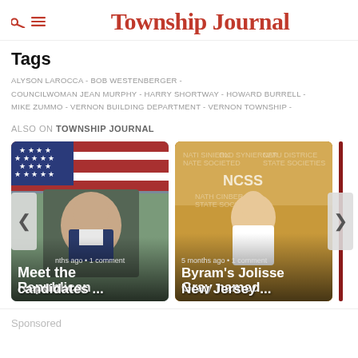Township Journal
Tags
ALYSON LAROCCA - BOB WESTENBERGER - COUNCILWOMAN JEAN MURPHY - HARRY SHORTWAY - HOWARD BURRELL - MIKE ZUMMO - VERNON BUILDING DEPARTMENT - VERNON TOWNSHIP -
ALSO ON TOWNSHIP JOURNAL
[Figure (photo): Carousel with two article cards. Left card: photo of man with American flag background, headline 'Meet the Republican candidates ...' with meta '...ths ago • 1 comment'. Right card: NCSS event photo of girl with sash, headline 'Byram's Jolisse Gray named New Jersey ...' with meta '5 months ago • 1 comment'. Left and right navigation arrows visible.]
Sponsored